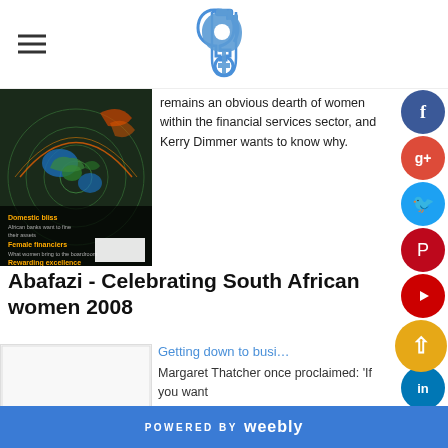(Site logo and hamburger menu navigation)
[Figure (photo): Cover of AI Index Series magazine showing globe/radar image with text: Domestic bliss, Female financiers, Rewarding excellence]
remains an obvious dearth of women within the financial services sector, and Kerry Dimmer wants to know why.
Abafazi - Celebrating South African women 2008
[Figure (photo): White/blank article image placeholder]
Getting down to busi…
Margaret Thatcher once proclaimed: 'If you want
POWERED BY weebly